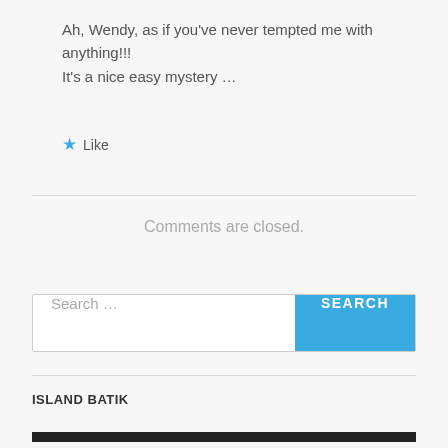Ah, Wendy, as if you've never tempted me with anything!!!
It's a nice easy mystery …
★ Like
Comments are closed.
Search …
ISLAND BATIK